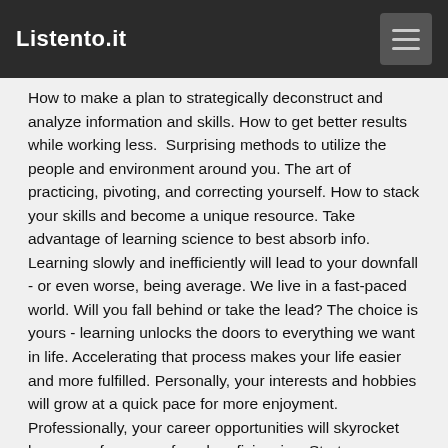Listento.it
How to make a plan to strategically deconstruct and analyze information and skills. How to get better results while working less. Surprising methods to utilize the people and environment around you. The art of practicing, pivoting, and correcting yourself. How to stack your skills and become a unique resource. Take advantage of learning science to best absorb info. Learning slowly and inefficiently will lead to your downfall - or even worse, being average. We live in a fast-paced world. Will you fall behind or take the lead? The choice is yours - learning unlocks the doors to everything we want in life. Accelerating that process makes your life easier and more fulfilled. Personally, your interests and hobbies will grow at a quick pace for more enjoyment. Professionally, your career opportunities will skyrocket because of your newfound proficiencies. Start your journey rapidly by clicking the "Buy Now" button at the top of this page! PLEASE NOTE: When you purchase this title, the accompanying PDF will be available in your Audible